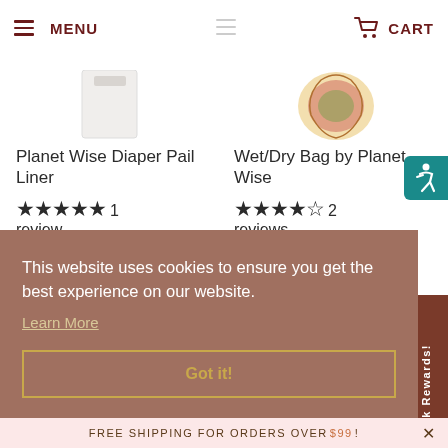MENU  CART
Planet Wise Diaper Pail Liner
★★★★★ 1 review
$ 19.99
Wet/Dry Bag by Planet Wise
★★★★★ 2 reviews
$ 21.99
This website uses cookies to ensure you get the best experience on our website.
Learn More
Got it!
Free Shipping for Orders Over $99 !